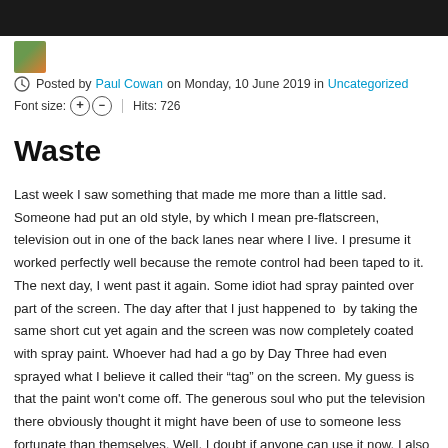Posted by Paul Cowan on Monday, 10 June 2019 in Uncategorized
Font size: + -  Hits: 726
Waste
Last week I saw something that made me more than a little sad. Someone had put an old style, by which I mean pre-flatscreen, television out in one of the back lanes near where I live. I presume it worked perfectly well because the remote control had been taped to it. The next day, I went past it again. Some idiot had spray painted over part of the screen. The day after that I just happened to  by taking the same short cut yet again and the screen was now completely coated with spray paint. Whoever had had a go by Day Three had even sprayed what I believe it called their “tag” on the screen. My guess is that the paint won't come off. The generous soul who put the television there obviously thought it might have been of use to someone less fortunate than themselves. Well, I doubt if anyone can use it now. I also suspect that old televisions require special disposal if they are not to be a toxic environmental hazard. The idiot with a spray paint can roaming the neighbourhood is bad enough. What do to deserve at